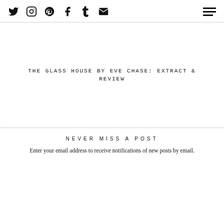Social icons: Twitter, Instagram, Pinterest, Facebook, Tumblr, Email | Hamburger menu
THE GLASS HOUSE BY EVE CHASE: EXTRACT & REVIEW
NEVER MISS A POST
Enter your email address to receive notifications of new posts by email.